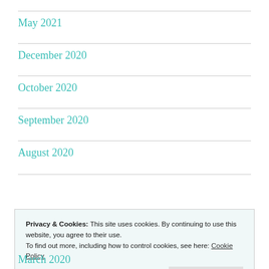May 2021
December 2020
October 2020
September 2020
August 2020
Privacy & Cookies: This site uses cookies. By continuing to use this website, you agree to their use.
To find out more, including how to control cookies, see here: Cookie Policy
March 2020